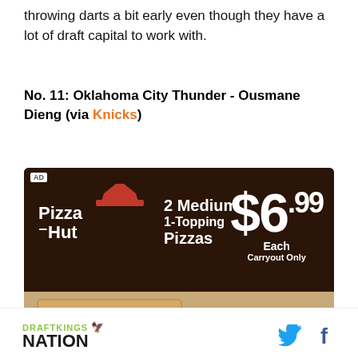throwing darts a bit early even though they have a lot of draft capital to work with.
No. 11: Oklahoma City Thunder - Ousmane Dieng (via Knicks)
[Figure (photo): Pizza Hut advertisement showing 2 Medium 1-Topping Pizzas for $6.99 each, carryout only. Features Pizza Hut logo, pizza boxes, and promotional pricing graphic.]
DRAFTKINGS NATION